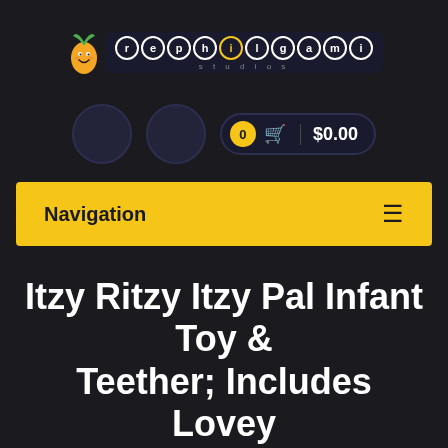[Figure (logo): Rephilgami Studios logo with carrot mascot and bubble-letter text in dark box]
[Figure (screenshot): Navigation icon row with two dark circle buttons and a cart pill showing 0 items and $0.00]
Navigation
Itzy Ritzy Itzy Pal Infant Toy & Teether; Includes Lovey Crinkle Sound Textured